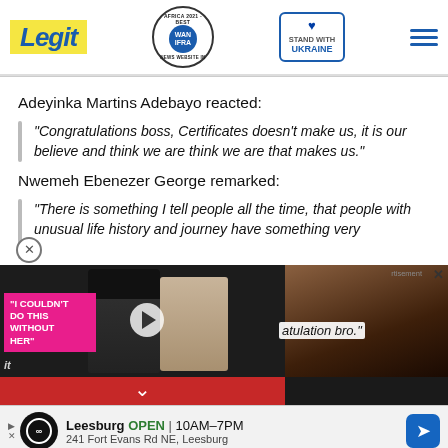Legit — WAN IFRA 2021 Best News Website in Africa — STAND WITH UKRAINE
Adeyinka Martins Adebayo reacted:
"Congratulations boss, Certificates doesn't make us, it is our believe and think we are think we are that makes us."
Nwemeh Ebenezer George remarked:
"There is something I tell people all the time, that people with unusual life history and journey have something very ... atulation bro."
[Figure (screenshot): Video ad overlay with two people, pink label 'I COULDN'T DO THIS WITHOUT HER', play button, and advertisement panel on right with dark-haired person photo]
[Figure (infographic): Bottom advertisement banner: Leesburg OPEN 10AM-7PM, 241 Fort Evans Rd NE, Leesburg with navigation icon]